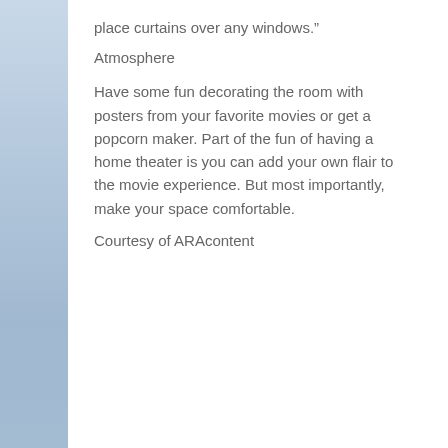place curtains over any windows.”
Atmosphere
Have some fun decorating the room with posters from your favorite movies or get a popcorn maker. Part of the fun of having a home theater is you can add your own flair to the movie experience. But most importantly, make your space comfortable.
Courtesy of ARAcontent
Author: Andy Quayle
Andy was born in the Isle of Man and currently lives in Pittsburgh
We use cookies to ensure that we give you the best experience on our website. If you continue to use this site we will assume that you are happy with it.